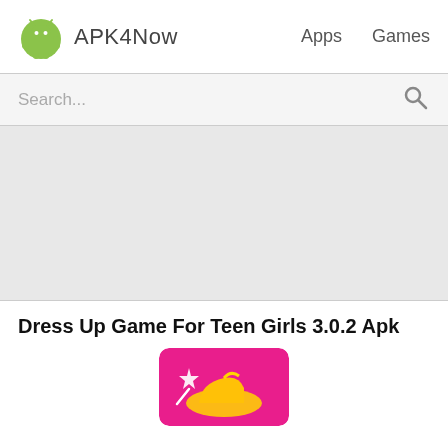APK4Now   Apps   Games
Search...
Dress Up Game For Teen Girls 3.0.2 Apk
[Figure (illustration): App icon for Dress Up Game For Teen Girls — pink background with a stylized yellow high-heel shoe and a wand/star graphic]